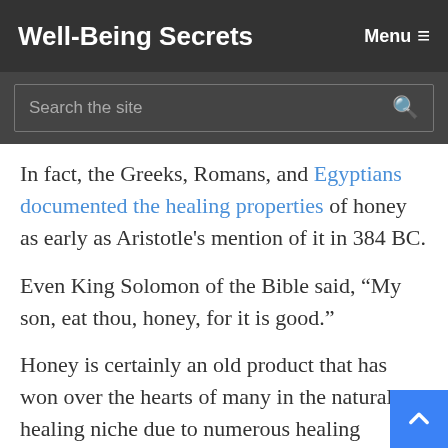Well-Being Secrets | Menu
In fact, the Greeks, Romans, and Egyptians documented the healing properties of honey as early as Aristotle's mention of it in 384 BC.
Even King Solomon of the Bible said, “My son, eat thou, honey, for it is good.”
Honey is certainly an old product that has won over the hearts of many in the natural healing niche due to numerous healing properties of h…